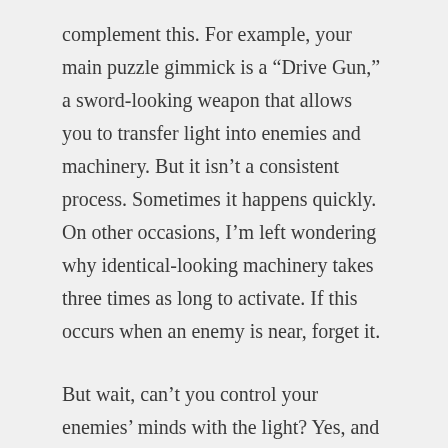complement this. For example, your main puzzle gimmick is a “Drive Gun,” a sword-looking weapon that allows you to transfer light into enemies and machinery. But it isn’t a consistent process. Sometimes it happens quickly. On other occasions, I’m left wondering why identical-looking machinery takes three times as long to activate. If this occurs when an enemy is near, forget it.
But wait, can’t you control your enemies’ minds with the light? Yes, and these moments are pretty darn fun. But the devs couldn’t resist having enemies respawn, adding a few tablespoons worth of this mechanic when a pinch would’ve sufficed. Thus, this puzzle impact is weakened. Perhaps if the light mechanic wasn’t dependent on control via the Joy-Con sticks, it could’ve worked better,